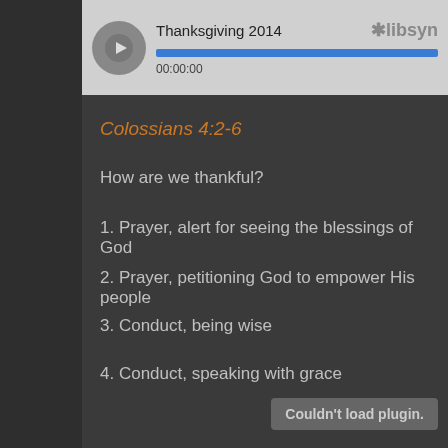[Figure (other): Audio player widget showing 'Thanksgiving 2014' with play button, progress bar at 00:00:00, and Libsyn logo]
Colossians 4:2-6
How are we thankful?
1. Prayer, alert for seeing the blessings of God
2. Prayer, petitioning God to empower His people
3. Conduct, being wise
4. Conduct, speaking with grace
Couldn't load plugin.